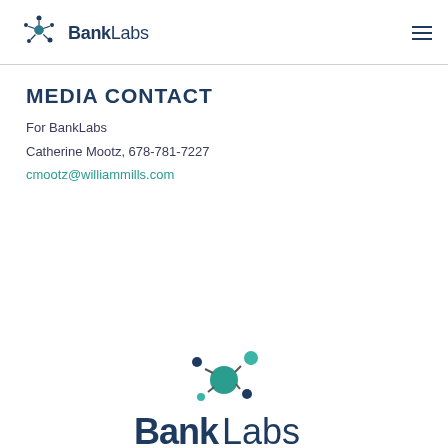[Figure (logo): BankLabs logo with molecule/network icon in teal and navy blue, text reads BankLabs with bold Bank and light Labs]
[Figure (other): Hamburger menu icon (three horizontal lines) in navy blue, top right corner]
MEDIA CONTACT
For BankLabs
Catherine Mootz, 678-781-7227
cmootz@williammills.com
[Figure (logo): BankLabs logo at bottom center, large molecule/network icon in teal above large bold navy text BankLabs]